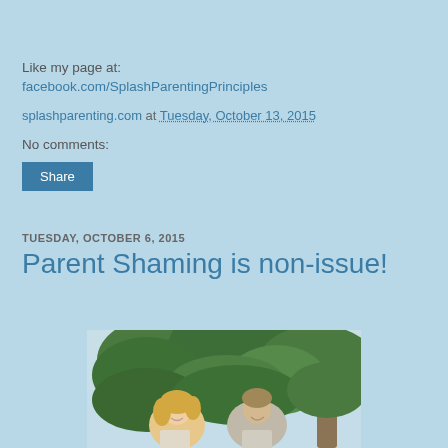Like my page at:
facebook.com/SplashParentingPrinciples
splashparenting.com at Tuesday, October 13, 2015
No comments:
Share
TUESDAY, OCTOBER 6, 2015
Parent Shaming is non-issue!
[Figure (photo): A smiling couple (woman with blonde hair and a man) outdoors in front of green tropical foliage with a light blue sky background]